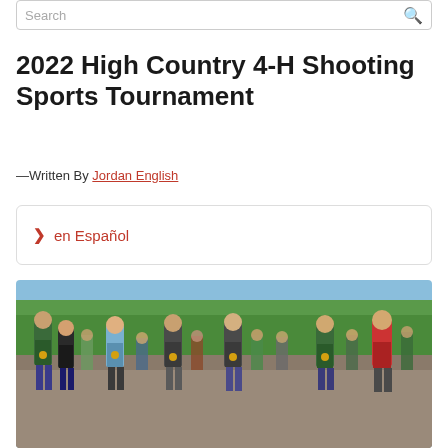Search
2022 High Country 4-H Shooting Sports Tournament
— Written By Jordan English
> en Español
[Figure (photo): Group photo of participants at the 2022 High Country 4-H Shooting Sports Tournament outdoors, with trees in background. Bottom strip shows North Carolina 4-H Shooting Sports logo in center, with crowd photos on left and right.]